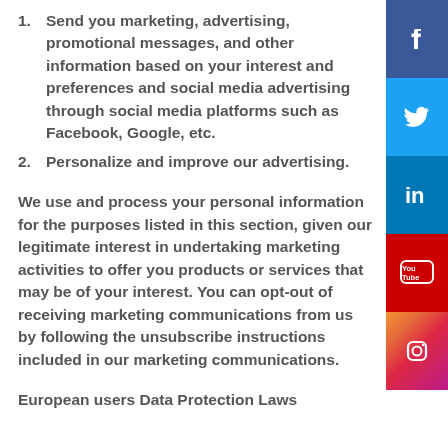1. Send you marketing, advertising, promotional messages, and other information based on your interest and preferences and social media advertising through social media platforms such as Facebook, Google, etc.
2. Personalize and improve our advertising.
We use and process your personal information for the purposes listed in this section, given our legitimate interest in undertaking marketing activities to offer you products or services that may be of your interest. You can opt-out of receiving marketing communications from us by following the unsubscribe instructions included in our marketing communications.
European users Data Protection Laws
[Figure (infographic): Social media sidebar with icons for Facebook, Twitter, LinkedIn, YouTube, and Instagram]